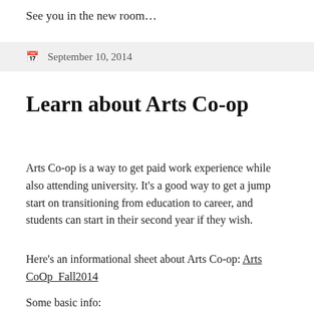See you in the new room…
September 10, 2014
Learn about Arts Co-op
Arts Co-op is a way to get paid work experience while also attending university. It's a good way to get a jump start on transitioning from education to career, and students can start in their second year if they wish.
Here's an informational sheet about Arts Co-op: Arts CoOp_Fall2014
Some basic info: